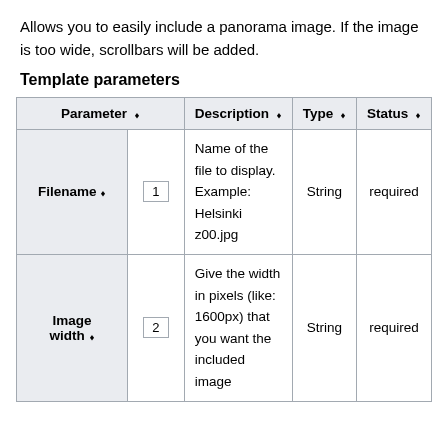Allows you to easily include a panorama image. If the image is too wide, scrollbars will be added.
Template parameters
| Parameter | Description | Type | Status |
| --- | --- | --- | --- |
| Filename 1 | Name of the file to display. Example: Helsinki z00.jpg | String | required |
| Image width 2 | Give the width in pixels (like: 1600px) that you want the included image | String | required |